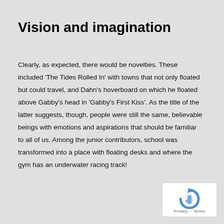Vision and imagination
Clearly, as expected, there would be novelties. These included 'The Tides Rolled In' with towns that not only floated but could travel, and Dahn's hoverboard on which he floated above Gabby's head in 'Gabby's First Kiss'. As the title of the latter suggests, though, people were still the same, believable beings with emotions and aspirations that should be familiar to all of us. Among the junior contributors, school was transformed into a place with floating desks and where the gym has an underwater racing track!
[Figure (logo): reCAPTCHA badge with Privacy and Terms links]